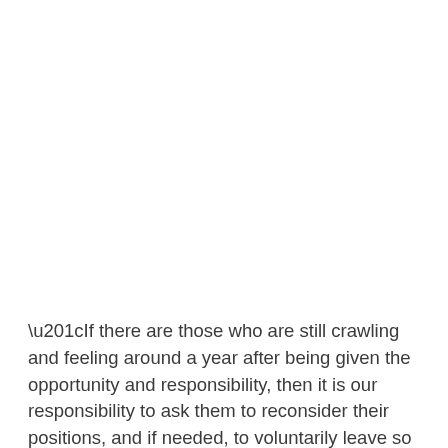“If there are those who are still crawling and feeling around a year after being given the opportunity and responsibility, then it is our responsibility to ask them to reconsider their positions, and if needed, to voluntarily leave so that others can replace them.” said Kadir.